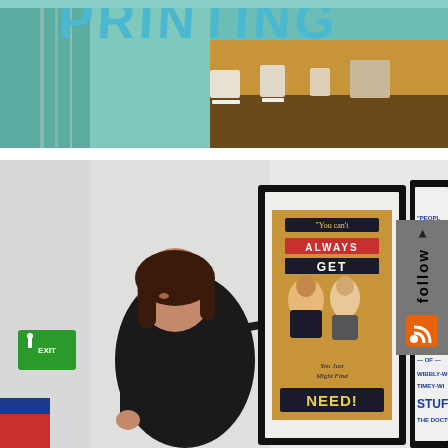[Figure (photo): Top photo showing a museum or exhibition space with a large 'PRINTING' sign in teal/blue letters, display cases and exhibits visible on a counter]
[Figure (photo): Bottom photo showing a woman with short dark hair, dressed in black, using a long tool (pointer or brush) to adjust or work on a framed poster on a white wall. Two black-framed artworks are visible: one with a vintage illustration reading 'You can't Always GET what You Just Might NEED!', and another with blue typography referencing Doctor Who quotes about time being 'wibbly-wobbly timey-wimey stuff'. A green exit sign and partial red/blue artwork are at left. A grey 'follow' tab with RSS icon appears at top right.]